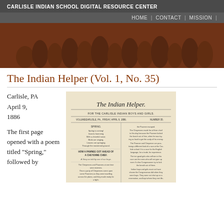CARLISLE INDIAN SCHOOL DIGITAL RESOURCE CENTER
HOME | CONTACT | MISSION |
[Figure (photo): Sepia-toned historical photograph of a large group of Native American people posed together]
The Indian Helper (Vol. 1, No. 35)
Carlisle, PA
April 9, 1886
The first page opened with a poem titled "Spring," followed by
[Figure (photo): Scan of the front page of The Indian Helper newspaper, showing the masthead 'The Indian Helper', subtitle 'FOR THE CARLISLE INDIAN BOYS AND GIRLS', volume and date information, and articles including a poem titled SPRING and a story titled HOW A PAWNEE GOT AHEAD OF A CHEYENNE CHIEF]